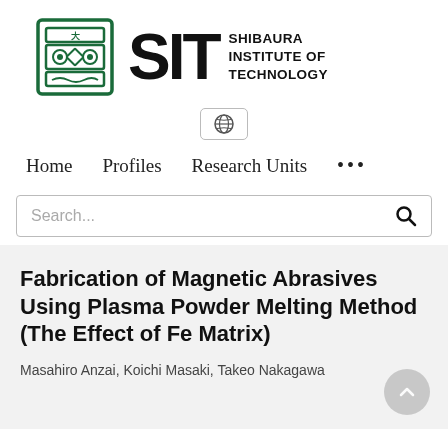[Figure (logo): Shibaura Institute of Technology (SIT) logo — green emblem on left, bold SIT letters in black, 'SHIBAURA INSTITUTE OF TECHNOLOGY' text on right]
[Figure (other): Globe/language selector icon button with rounded border]
Home   Profiles   Research Units   ...
Search...
Fabrication of Magnetic Abrasives Using Plasma Powder Melting Method (The Effect of Fe Matrix)
Masahiro Anzai, Koichi Masaki, Takeo Nakagawa